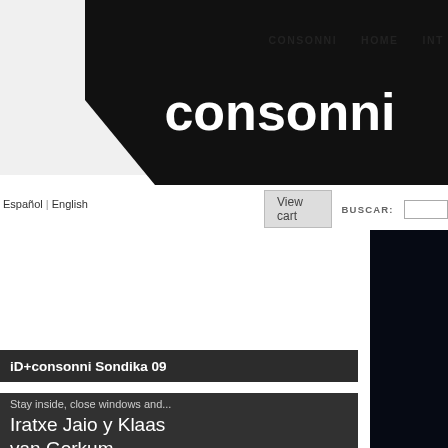[Figure (logo): consonni brand logo — white bold text 'consonni' on a black irregular polygon/parallelogram shape in the top-left header area]
CONSONNI   HOME   INT
Español | English
View cart   BUSCAR:
[Figure (photo): Dark photo showing a blue neon light sculpture mounted on a dark wall, showing cursive neon letters 'ele' glowing bright blue]
iD+consonni Sondika 09
Stay inside, close windows and...
Iratxe Jaio y Klaas van Gorkum